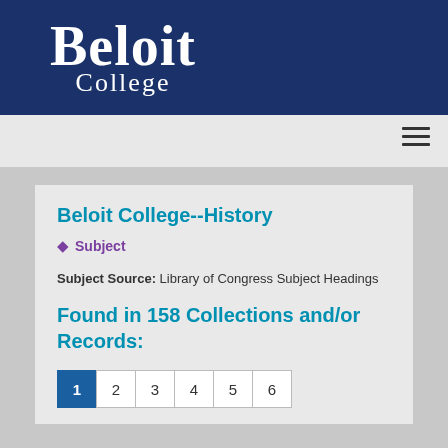[Figure (logo): Beloit College logo: white text 'Beloit College' on dark navy blue background]
Navigation menu (hamburger icon)
Beloit College--History
Subject
Subject Source: Library of Congress Subject Headings
Found in 158 Collections and/or Records:
1 2 3 4 5 6